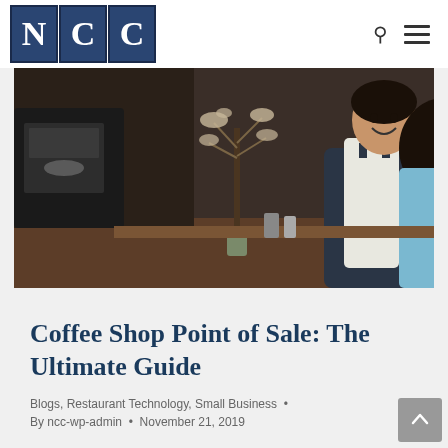NCC
[Figure (photo): A smiling female barista wearing a denim apron stands behind a coffee shop counter, facing a customer with dark hair seen from behind. Coffee equipment and dried floral arrangements visible in background.]
Coffee Shop Point of Sale: The Ultimate Guide
Blogs, Restaurant Technology, Small Business  •
By ncc-wp-admin  •  November 21, 2019